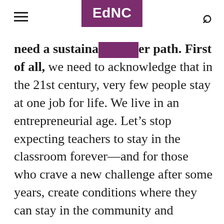EdNC
need a sustainable career path. First of all, we need to acknowledge that in the 21st century, very few people stay at one job for life. We live in an entrepreneurial age. Let’s stop expecting teachers to stay in the classroom forever—and for those who crave a new challenge after some years, create conditions where they can stay in the community and continue to make a wider or deeper contribution in education, whether as a principal (which means we need to re-think principal working conditions) or as a master teacher